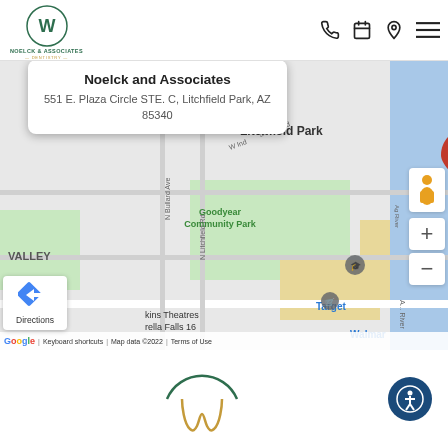[Figure (logo): Noelck & Associates Dentistry logo with tooth in circle]
[Figure (map): Google Map showing location of Noelck and Associates at 551 E. Plaza Circle STE. C, Litchfield Park, AZ 85340 with red map pin]
Noelck and Associates
551 E. Plaza Circle STE. C, Litchfield Park, AZ 85340
Directions
Keyboard shortcuts   Map data ©2022   Terms of Use
[Figure (logo): Noelck & Associates Dentistry partial logo at bottom center]
[Figure (other): Accessibility icon circle with person symbol]